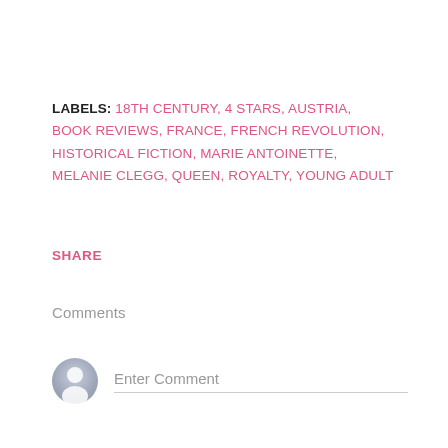LABELS: 18TH CENTURY, 4 STARS, AUSTRIA, BOOK REVIEWS, FRANCE, FRENCH REVOLUTION, HISTORICAL FICTION, MARIE ANTOINETTE, MELANIE CLEGG, QUEEN, ROYALTY, YOUNG ADULT
SHARE
Comments
Enter Comment